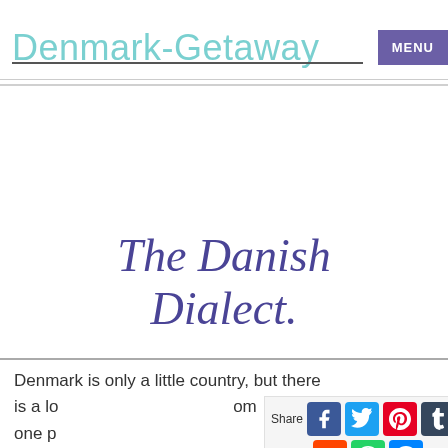Denmark-Getaway  MENU
The Danish Dialect.
Denmark is only a little country, but there is a lo...m one p...
[Figure (other): Social share popup showing Share label with icons for Facebook, Twitter, Pinterest, Tumblr (top row) and Reddit, WhatsApp, Messenger (bottom row)]